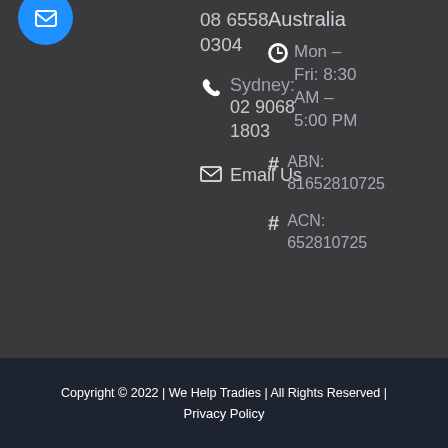08 6558 0304
Sydney: 02 9068 1803
Email Us
Australia
Mon – Fri: 8:30 AM – 5:00 PM
ABN: 81652810725
ACN: 652810725
Copyright © 2022 | We Help Tradies | All Rights Reserved | Privacy Policy